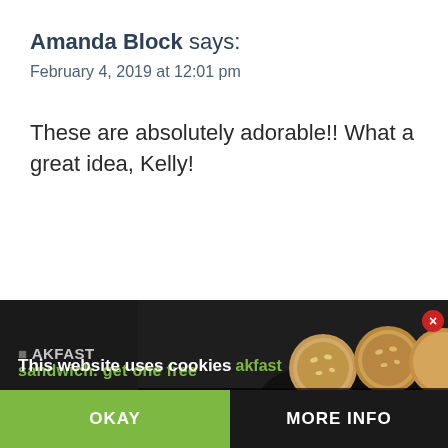Amanda Block says:
February 4, 2019 at 12:01 pm
These are absolutely adorable!! What a great idea, Kelly!
[Figure (screenshot): Cookie consent banner overlay at the bottom of a webpage showing food image with text 'This website uses cookies', promotional text 'breakfast sandwich. get one free', an OKAY button in green, a MORE INFO button in dark, and a red close button.]